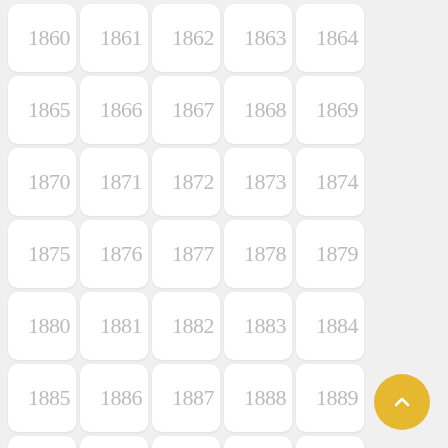[Figure (other): A scrollable grid of year buttons from 1860 to 1914, arranged in 5 columns, displayed as rounded rectangle tiles with light gray year numbers. A gold circular back-to-top FAB button is visible in the bottom right corner.]